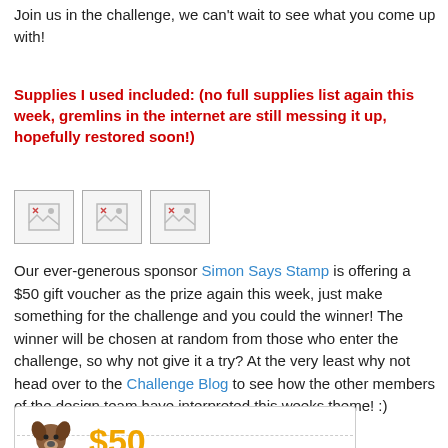Join us in the challenge, we can't wait to see what you come up with!
Supplies I used included:  (no full supplies list again this week, gremlins in the internet are still messing it up, hopefully restored soon!)
[Figure (other): Three broken/missing image placeholders shown as small icons with torn image symbol]
Our ever-generous sponsor Simon Says Stamp is offering a $50 gift voucher as the prize again this week, just make something for the challenge and you could the winner! The winner will be chosen at random from those who enter the challenge, so why not give it a try? At the very least why not head over to the Challenge Blog to see how the other members of the design team have interpreted this weeks theme! :)
[Figure (other): Simon Says Stamp $50 gift voucher image with dog mascot logo]